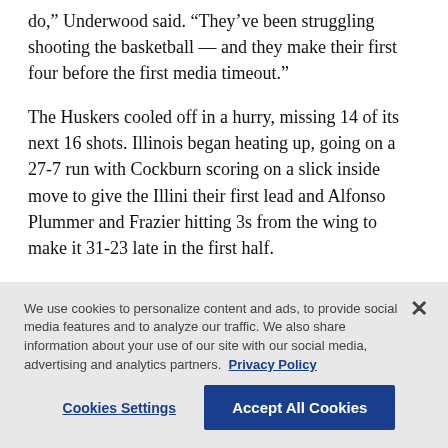do,” Underwood said. “They’ve been struggling shooting the basketball — and they make their first four before the first media timeout.”
The Huskers cooled off in a hurry, missing 14 of its next 16 shots. Illinois began heating up, going on a 27-7 run with Cockburn scoring on a slick inside move to give the Illini their first lead and Alfonso Plummer and Frazier hitting 3s from the wing to make it 31-23 late in the first half.
We use cookies to personalize content and ads, to provide social media features and to analyze our traffic. We also share information about your use of our site with our social media, advertising and analytics partners. Privacy Policy
Cookies Settings
Accept All Cookies